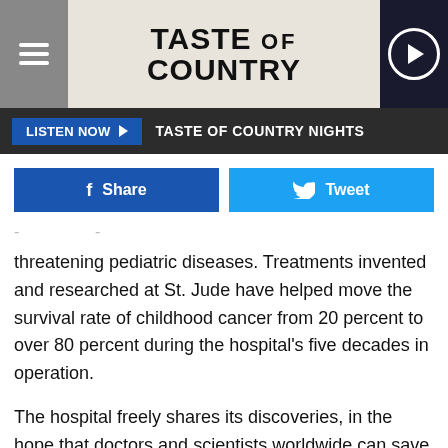[Figure (logo): Taste of Country website header with hamburger menu, logo, and play button]
LISTEN NOW ▶  TASTE OF COUNTRY NIGHTS
[Figure (infographic): Facebook Share and Twitter Tweet social sharing buttons]
threatening pediatric diseases. Treatments invented and researched at St. Jude have helped move the survival rate of childhood cancer from 20 percent to over 80 percent during the hospital's five decades in operation.
The hospital freely shares its discoveries, in the hope that doctors and scientists worldwide can save more children. Furthermore, families receiving care at St. Jude never receive a bill for treatment, travel, housing or food, so that they can concentrate fully on helping their child live.